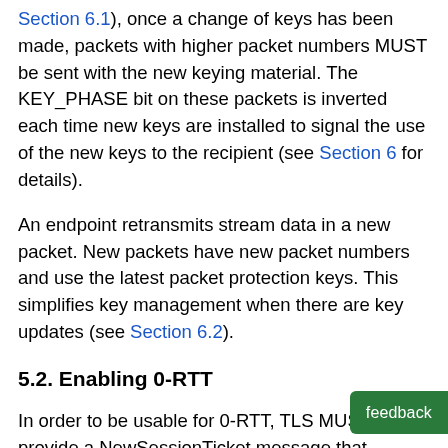Section 6.1), once a change of keys has been made, packets with higher packet numbers MUST be sent with the new keying material. The KEY_PHASE bit on these packets is inverted each time new keys are installed to signal the use of the new keys to the recipient (see Section 6 for details).
An endpoint retransmits stream data in a new packet. New packets have new packet numbers and use the latest packet protection keys. This simplifies key management when there are key updates (see Section 6.2).
5.2. Enabling 0-RTT
In order to be usable for 0-RTT, TLS MUST provide a NewSessionTicket message that contains the "max_early_data" extension with the value 0xffffffff; the amount of data which the client can send in 0-RTT is controlled by the "initial_max_data" transport parameter